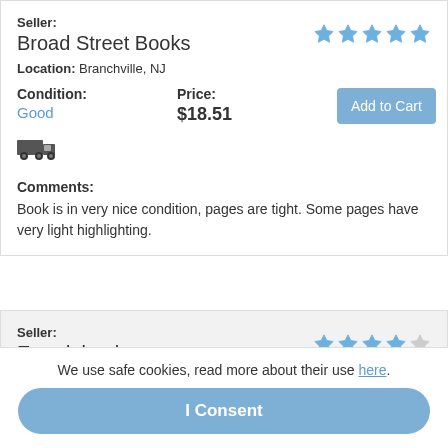Seller: Broad Street Books
[Figure (infographic): 5 filled blue stars rating]
Location: Branchville, NJ
Condition: Good
Price: $18.51
Add to Cart
[Figure (illustration): Truck/shipping icon]
Comments: Book is in very nice condition, pages are tight. Some pages have very light highlighting.
Seller: Ergodebooks
[Figure (infographic): 4 filled blue stars and 1 empty star rating]
Location: Houston,, TX
Ask seller a question
We use safe cookies, read more about their use here.
I Consent